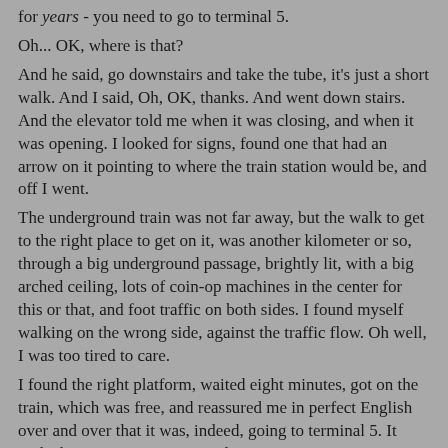for years - you need to go to terminal 5. Oh... OK, where is that? And he said, go downstairs and take the tube, it's just a short walk. And I said, Oh, OK, thanks. And went down stairs. And the elevator told me when it was closing, and when it was opening. I looked for signs, found one that had an arrow on it pointing to where the train station would be, and off I went. The underground train was not far away, but the walk to get to the right place to get on it, was another kilometer or so, through a big underground passage, brightly lit, with a big arched ceiling, lots of coin-op machines in the center for this or that, and foot traffic on both sides. I found myself walking on the wrong side, against the traffic flow. Oh well, I was too tired to care. I found the right platform, waited eight minutes, got on the train, which was free, and reassured me in perfect English over and over that it was, indeed, going to terminal 5. It took about ten minutes to get there. So I got out, into the bottom of some huge fancy glass tower building, occupied completely by British Airways. I had to go up to the twelfth floor or something - memory is sort of hazy, but anyway, I remember feeling flooded with relief when I spotted a big British Airways logo sign only a quarter mile or so across the